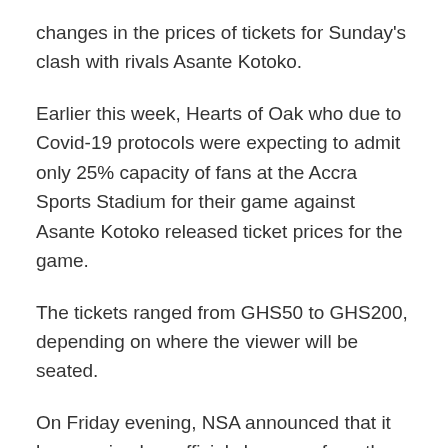changes in the prices of tickets for Sunday's clash with rivals Asante Kotoko.
Earlier this week, Hearts of Oak who due to Covid-19 protocols were expecting to admit only 25% capacity of fans at the Accra Sports Stadium for their game against Asante Kotoko released ticket prices for the game.
The tickets ranged from GHS50 to GHS200, depending on where the viewer will be seated.
On Friday evening, NSA announced that it has received an official clearance from the Ghana Health Service/COVID-19 Taskforce that the game can be played in full capacity of the stadium.